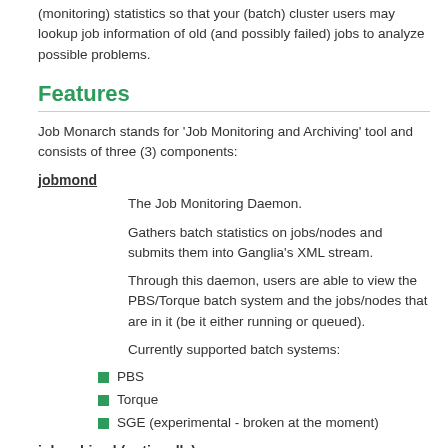(monitoring) statistics so that your (batch) cluster users may lookup job information of old (and possibly failed) jobs to analyze possible problems.
Features
Job Monarch stands for 'Job Monitoring and Archiving' tool and consists of three (3) components:
jobmond
The Job Monitoring Daemon.
Gathers batch statistics on jobs/nodes and submits them into Ganglia's XML stream.
Through this daemon, users are able to view the PBS/Torque batch system and the jobs/nodes that are in it (be it either running or queued).
Currently supported batch systems:
PBS
Torque
SGE (experimental - broken at the moment)
jobarchived (optionally)
The Job Archiving Daemon.
Listens to Ganglia's XML stream and archives the